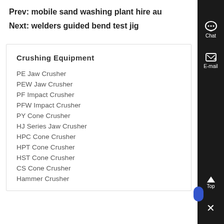Prev: mobile sand washing plant hire au
Next: welders guided bend test jig
Crushing Equipment
PE Jaw Crusher
PEW Jaw Crusher
PF Impact Crusher
PFW Impact Crusher
PY Cone Crusher
HJ Series Jaw Crusher
HPC Cone Crusher
HPT Cone Crusher
HST Cone Crusher
CS Cone Crusher
Hammer Crusher